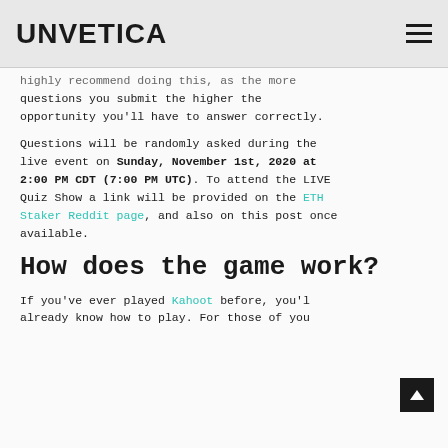UNVETICA
highly recommend doing this, as the more questions you submit the higher the opportunity you'll have to answer correctly.
Questions will be randomly asked during the live event on Sunday, November 1st, 2020 at 2:00 PM CDT (7:00 PM UTC). To attend the LIVE Quiz Show a link will be provided on the ETH Staker Reddit page, and also on this post once available.
How does the game work?
If you've ever played Kahoot before, you'll already know how to play. For those of you